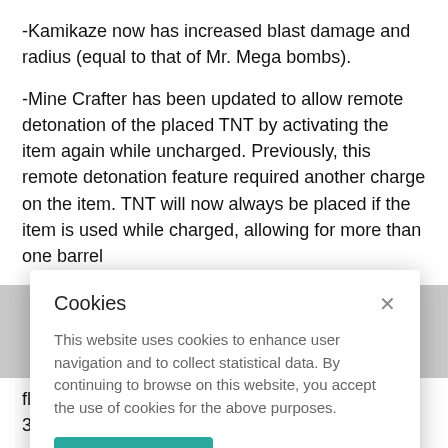-Kamikaze now has increased blast damage and radius (equal to that of Mr. Mega bombs).
-Mine Crafter has been updated to allow remote detonation of the placed TNT by activating the item again while uncharged. Previously, this remote detonation feature required another charge on the item. TNT will now always be placed if the item is used while charged, allowing for more than one barrel
[Figure (screenshot): Cookie consent modal dialog with title 'Cookies', close button (×), descriptive text about cookies, and an 'I understand' teal button.]
floor. Charge time has been increased to 6 (from 3).